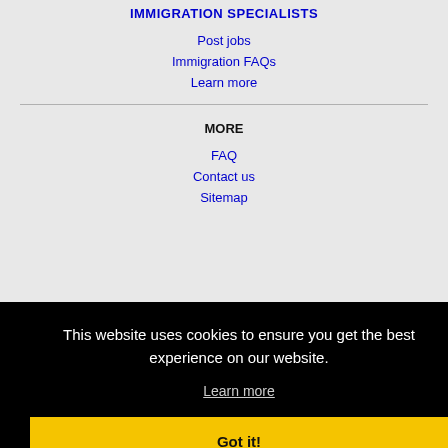IMMIGRATION SPECIALISTS
Post jobs
Immigration FAQs
Learn more
MORE
FAQ
Contact us
Sitemap
This website uses cookies to ensure you get the best experience on our website.
Learn more
Got it!